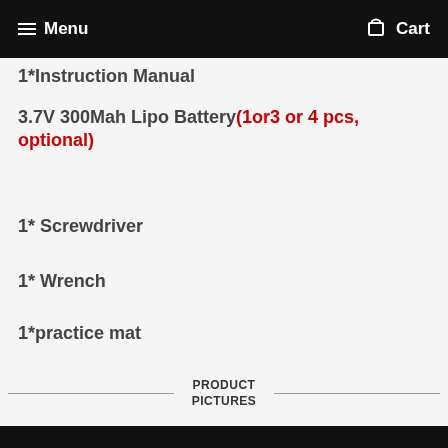Menu  Cart
1*Instruction Manual
3.7V 300Mah Lipo Battery(1or3 or 4 pcs, optional)
1* Screwdriver
1* Wrench
1*practice mat
PRODUCT PICTURES
[Figure (logo): Eachine brand logo with gear icon and model number F129 on black background]